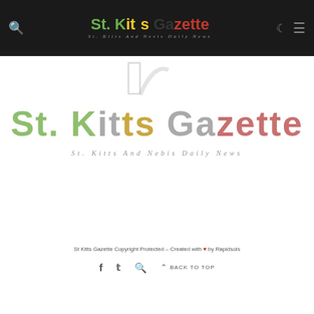St. Kitts Gazette — St. Kitts And Nevis Daily News (header bar)
[Figure (logo): Partial decorative C/Q shape in light gray, partially visible below header]
[Figure (logo): St. Kitts Gazette main logo with multi-colored text (green, gray, yellow, red) and subtitle 'St. Kitts And Nevis Daily News' in gray italic]
St Kitts Gazette Copyright Protected - Created with ♥ by Rapidsols
f  t  🔍  ^ BACK TO TOP